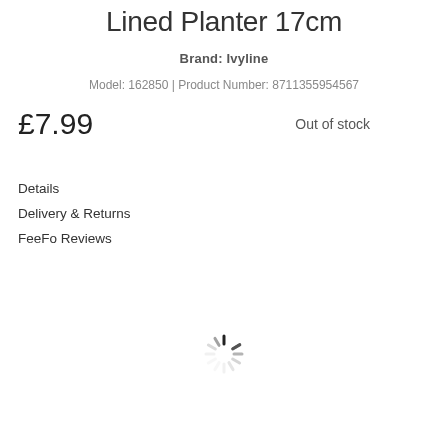Quad Hanging Natural Woven Lined Planter 17cm
Brand: Ivyline
Model: 162850 | Product Number: 8711355954567
£7.99
Out of stock
Details
Delivery & Returns
FeeFo Reviews
[Figure (other): Loading spinner animation icon]